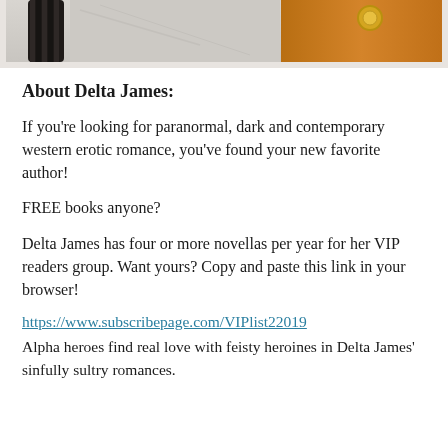[Figure (photo): Top portion of photograph showing a dark textured grip (possibly a whip or handle) on the left and a golden/amber leather bag or purse on the right, cropped at the top of the page.]
About Delta James:
If you're looking for paranormal, dark and contemporary western erotic romance, you've found your new favorite author!
FREE books anyone?
Delta James has four or more novellas per year for her VIP readers group. Want yours? Copy and paste this link in your browser!
https://www.subscribepage.com/VIPlist22019
Alpha heroes find real love with feisty heroines in Delta James' sinfully sultry romances.